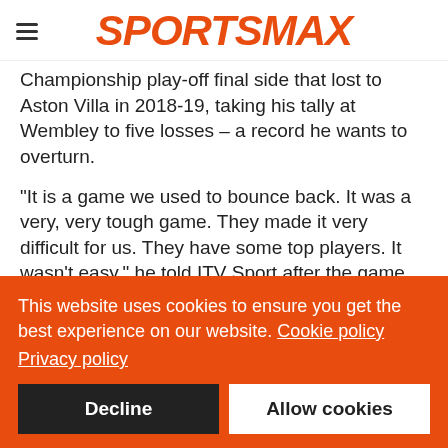SPORTSMAX
Championship play-off final side that lost to Aston Villa in 2018-19, taking his tally at Wembley to five losses – a record he wants to overturn.
"It is a game we used to bounce back. It was a very, very tough game. They made it very difficult for us. They have some top players. It wasn't easy," he told ITV Sport after the game.
"The way we came through it we showed character.
"I am buzzing for Rubes [Loftus-Cheek]. He is a top, top player.
This website uses cookies to ensure you get the best experience on our website. Cookie policy
Privacy policy
Decline
Allow cookies